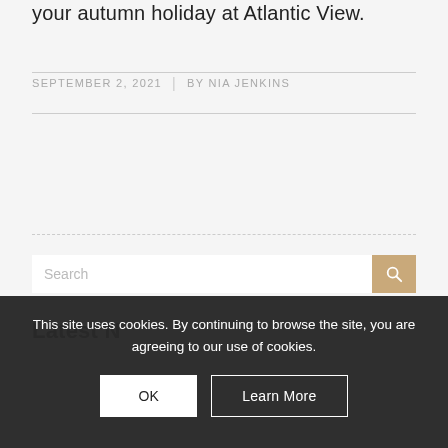your autumn holiday at Atlantic View.
SEPTEMBER 2, 2021  |  BY NIA JENKINS
Search
This site uses cookies. By continuing to browse the site, you are agreeing to our use of cookies.
OK
Learn More
Latest N…